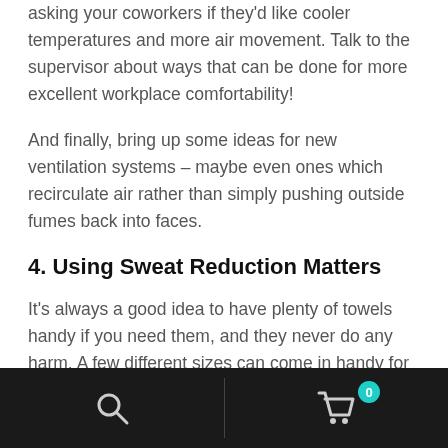asking your coworkers if they'd like cooler temperatures and more air movement. Talk to the supervisor about ways that can be done for more excellent workplace comfortability!
And finally, bring up some ideas for new ventilation systems – maybe even ones which recirculate air rather than simply pushing outside fumes back into faces.
4. Using Sweat Reduction Matters
It's always a good idea to have plenty of towels handy if you need them, and they never do any harm. A few different sizes can come in handy for many things- from wiping your forehead when it's hot outside up under
Search | Cart 0